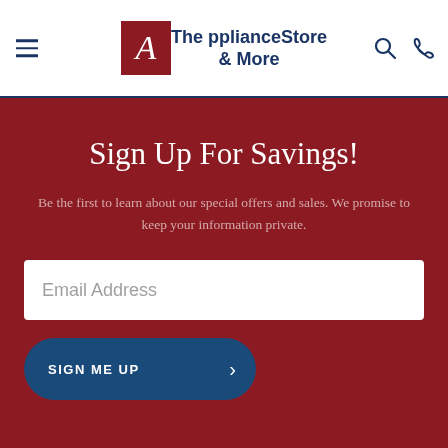The Appliance Store & More
Sign Up For Savings!
Be the first to learn about our special offers and sales. We promise to keep your information private.
Email Address
SIGN ME UP